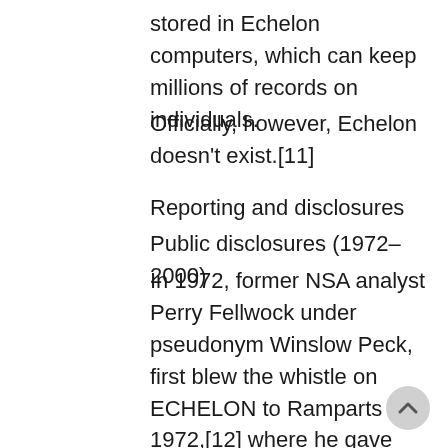stored in Echelon computers, which can keep millions of records on individuals.
Officially, however, Echelon doesn't exist.[11]
Reporting and disclosures
Public disclosures (1972–2000)
In 1972, former NSA analyst Perry Fellwock under pseudonym Winslow Peck, first blew the whistle on ECHELON to Ramparts in 1972,[12] where he gave commentary revealing a global network of listening posts and his experiences working there. Fellwock also included revelations such as the Israeli attack on USS Liberty was deliberate and known by both sides, the existence of nuclear weapons in Israel in 1972, the widespread involvement of CIA and NSA personnel in drugs and human smuggling, and CIA operatives leading